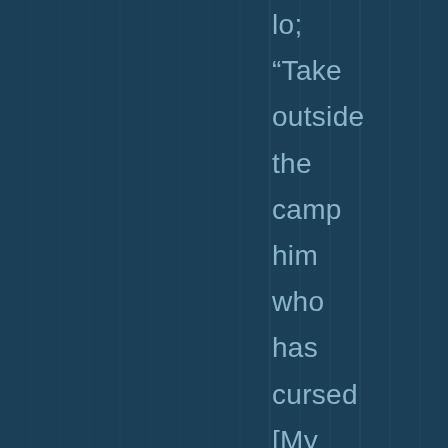lo; "Take outside the camp him who has cursed [My name]; then let all who heard him lay their